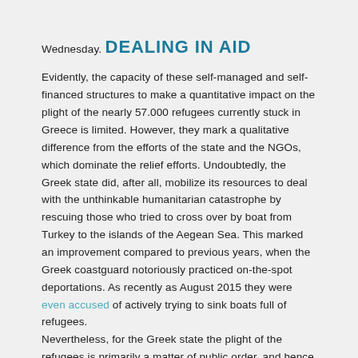Wednesday.
DEALING IN AID
Evidently, the capacity of these self-managed and self-financed structures to make a quantitative impact on the plight of the nearly 57.000 refugees currently stuck in Greece is limited. However, they mark a qualitative difference from the efforts of the state and the NGOs, which dominate the relief efforts. Undoubtedly, the Greek state did, after all, mobilize its resources to deal with the unthinkable humanitarian catastrophe by rescuing those who tried to cross over by boat from Turkey to the islands of the Aegean Sea. This marked an improvement compared to previous years, when the Greek coastguard notoriously practiced on-the-spot deportations. As recently as August 2015 they were even accused of actively trying to sink boats full of refugees.
Nevertheless, for the Greek state the plight of the refugees is primarily a matter of public order, and hence a field for the